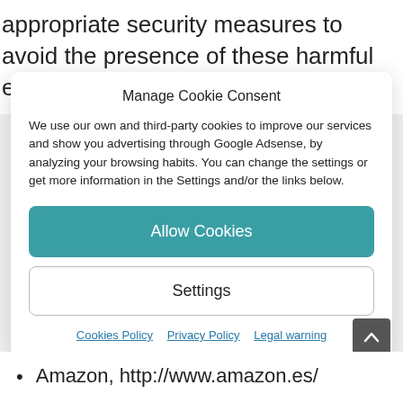appropriate security measures to avoid the presence of these harmful elements.
Manage Cookie Consent
We use our own and third-party cookies to improve our services and show you advertising through Google Adsense, by analyzing your browsing habits. You can change the settings or get more information in the Settings and/or the links below.
Allow Cookies
Settings
Cookies Policy  Privacy Policy  Legal warning
Amazon, http://www.amazon.es/